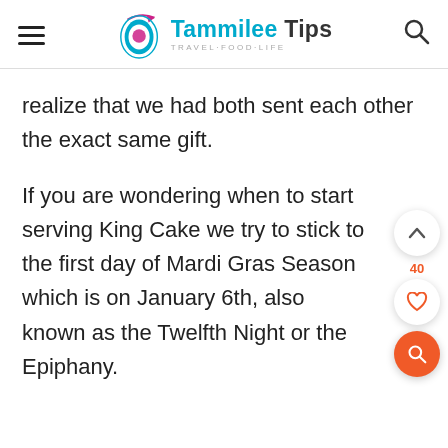Tammilee Tips — TRAVEL·FOOD·LIFE
realize that we had both sent each other the exact same gift.
If you are wondering when to start serving King Cake we try to stick to the first day of Mardi Gras Season which is on January 6th, also known as the Twelfth Night or the Epiphany.